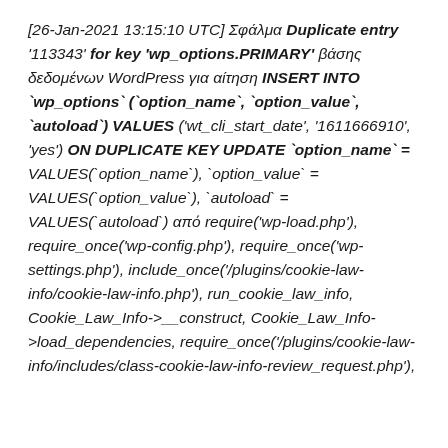[26-Jan-2021 13:15:10 UTC] Σφάλμα Duplicate entry '113343' for key 'wp_options.PRIMARY' βάσης δεδομένων WordPress για αίτηση INSERT INTO `wp_options` (`option_name`, `option_value`, `autoload`) VALUES ('wt_cli_start_date', '1611666910', 'yes') ON DUPLICATE KEY UPDATE `option_name` = VALUES(`option_name`), `option_value` = VALUES(`option_value`), `autoload` = VALUES(`autoload`) από require('wp-load.php'), require_once('wp-config.php'), require_once('wp-settings.php'), include_once('/plugins/cookie-law-info/cookie-law-info.php'), run_cookie_law_info, Cookie_Law_Info->__construct, Cookie_Law_Info->load_dependencies, require_once('/plugins/cookie-law-info/includes/class-cookie-law-info-review_request.php'), Cookie_Law_Info_Review_Request->__construct,